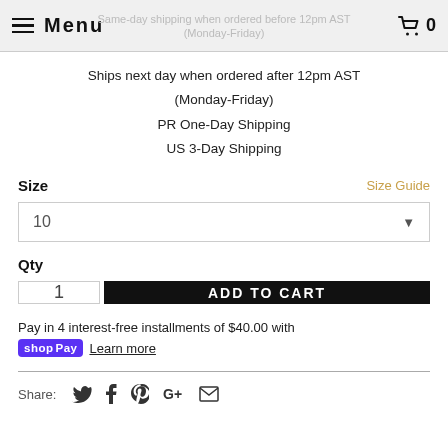Menu | Same-day shipping when ordered before 12pm AST (Monday-Friday) | 🛒 0
Ships next day when ordered after 12pm AST
(Monday-Friday)
PR One-Day Shipping
US 3-Day Shipping
Size | Size Guide
10
Qty
1
ADD TO CART
Pay in 4 interest-free installments of $40.00 with shop Pay Learn more
Share: